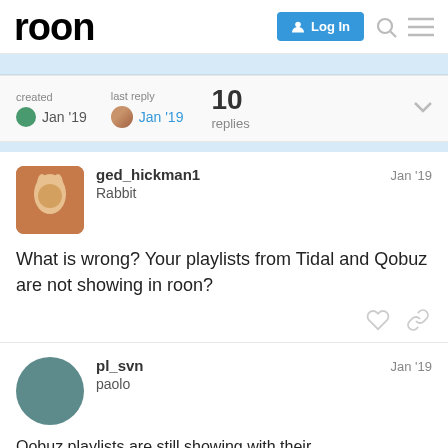roon | Log In
created Jan '19   last reply Jan '19   10 replies
ged_hickman1 Rabbit Jan '19
What is wrong? Your playlists from Tidal and Qobuz are not showing in roon?
pl_svn paolo Jan '19
Qobuz playlists are still showing with their and Tidal's... are still there after deleting a